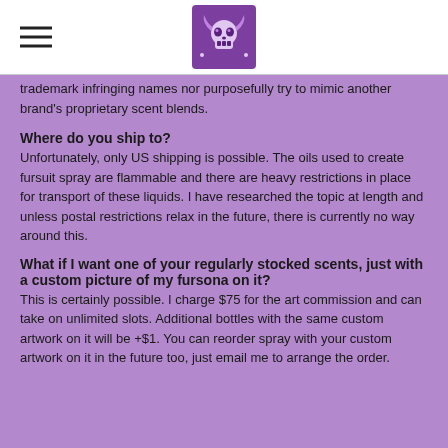[hamburger menu] [logo]
trademark infringing names nor purposefully try to mimic another brand's proprietary scent blends.
Where do you ship to?
Unfortunately, only US shipping is possible. The oils used to create fursuit spray are flammable and there are heavy restrictions in place for transport of these liquids. I have researched the topic at length and unless postal restrictions relax in the future, there is currently no way around this.
What if I want one of your regularly stocked scents, just with a custom picture of my fursona on it?
This is certainly possible. I charge $75 for the art commission and can take on unlimited slots. Additional bottles with the same custom artwork on it will be +$1. You can reorder spray with your custom artwork on it in the future too, just email me to arrange the order.